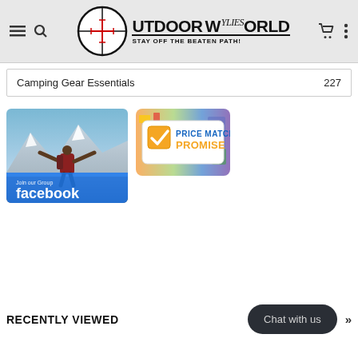[Figure (logo): Wylies Outdoor World logo with crosshair scope circle and tagline 'Stay off the beaten path!']
|  |  |
| --- | --- |
| Camping Gear Essentials | 227 |
[Figure (photo): Facebook group banner showing hiker with arms spread on mountain top with 'Join our Group facebook' overlay]
[Figure (logo): Price Match Promise badge with yellow checkbox and blue/yellow text on blurred outdoor gear background]
RECENTLY VIEWED
Chat with us